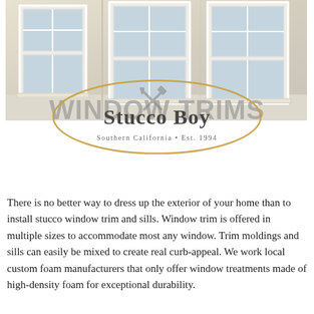[Figure (photo): Exterior of a house showing white stucco window trims and sills on a beige/cream colored wall with multiple windows]
[Figure (logo): Stucco Boy logo — crossed hammer and trowel tools icon above text 'Stucco Boy' with 'Southern California • Est. 1994' below, all inside a golden oval outline. Overlaid on top is large gray text reading 'WINDOW TRIMS']
There is no better way to dress up the exterior of your home than to install stucco window trim and sills. Window trim is offered in multiple sizes to accommodate most any window. Trim moldings and sills can easily be mixed to create real curb-appeal. We work local custom foam manufacturers that only offer window treatments made of high-density foam for exceptional durability.